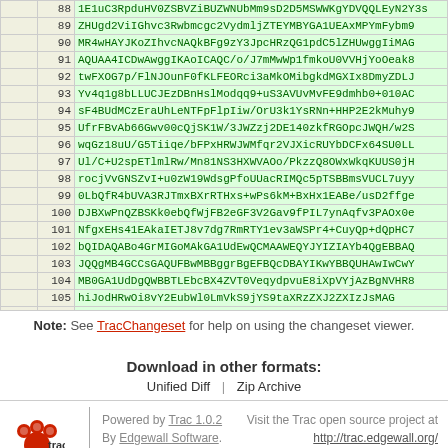| ln1 | ln2 | code |
| --- | --- | --- |
|  | 88 | 1E1uC3RpduHV0ZSBVZiBUZWNUbMm9sD2D5MSWWKgYDVQQLEyN2Y3... |
|  | 89 | ZHUgd2ViIGhvc3Rpbmcgc2VydmljZTEYMBYGA1UEAxMPYmFybm9... |
|  | 90 | MR4wHAYJKoZIhvcNAQkBFg9zY3JpcHRzQG1pdC5lZHUwggIiMA... |
|  | 91 | AQUAA4ICDwAwggIKAoICAQC/o/J7mMwWp1fmkoU0VVHjYoOeak8... |
|  | 92 | twFXOG7p/FlNJOunF0fKLFEORci3aMkOMibgkdMGXIx8DmyZDL... |
|  | 93 | Yv4q1g8bLLUCJEzDBnHslModqq9+uS3AVUvMvFE9dmhb0+010AC... |
|  | 94 | sF4BUdMCzEraUhLeNTFpFlpIiw/OrU3k1YsRNn+HHP2E2kMuhy9... |
|  | 95 | UfrFBvAb66Gwv00cQjSK1W/3JWZzj2DE140zkfRGOpcJWQH/w2S... |
|  | 96 | wqGz18uU/G5Tiiqe/bFPxHRWJWMfqr2VJXicRUYbDCFx64SU0LL... |
|  | 97 | Ul/C+U2spETlmlRw/Mn81NS3HXWVAOO/PkzzQ8OWxWkqKUUS0jH... |
|  | 98 | rocjVvGNSZvI+u0zW19WdsgPfoUUacRIMQc5pTSBBmsVUCL7uyy... |
|  | 99 | 0LbQfR4bUVA3RJTmxBXrRTHxs+wPs6kM+BxHx1EABe/usD2ffge... |
|  | 100 | DJBXwPnQZBSKk0ebQfWjFB2eGF3V2Gav9fPIL7ynAqfv3PAOx0e... |
|  | 101 | NfgxEHs41EAkaIETJ8v7dg7RmRTY1ev3aWSPr4+CuyQp+dQpHC7... |
|  | 102 | bQIDAQABo4GrMIGoMAkGA1UdEwQCMAAWEQYJYIZIAYb4QgEBBAQ... |
|  | 103 | JQQgMB4GCCsGAQUFBwMBBggrBgEFBQcDBAYIKwYBBQUHAwIwCwY... |
|  | 104 | MB0GA1UdDgQWBBTLEbcBX4ZVT0VeqydpvuE8iXpVYjAzBgNVHR8... |
|  | 105 | hiJodHRwOi8vY2EubWl0LmVkS9jYS9taXRzZXJ2ZXIzJsMAG... |
|  | 106 | BQUAA4GBAASRdVlQoUe/2ts5Z8qK4CHHXFPCKJJCXRWlkfMrtdu... |
|  | 107 | f5n/2A7guMyTdYNqQzazmr2kkxmO4g51gN9vxPW5g//oBThyPik... |
|  | 108 | qJyebQX4tjNY4KMlsOBRTUUNOLKSAXLYPQcLomc+rqgcB+3F+zR... |
| 75 | 109 | -----END CERTIFICATE----- |
| 76 | 110 |  |
Note: See TracChangeset for help on using the changeset viewer.
Download in other formats:
Unified Diff
Zip Archive
Powered by Trac 1.0.2 By Edgewall Software. Visit the Trac open source project at http://trac.edgewall.org/